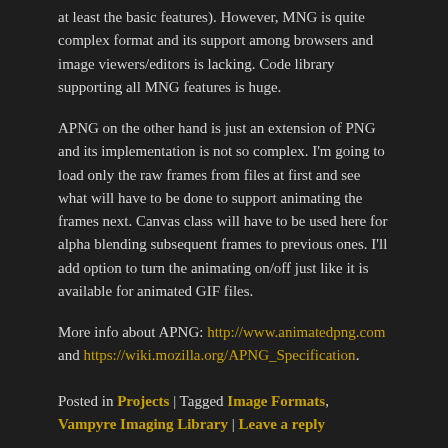at least the basic features). However, MNG is quite complex format and its support among browsers and image viewers/editors is lacking. Code library supporting all MNG features is huge.
APNG on the other hand is just an extension of PNG and its implementation is not so complex. I'm going to load only the raw frames from files at first and see what will have to be done to support animating the frames next. Canvas class will have to be used here for alpha blending subsequent frames to previous ones. I'll add option to turn the animating on/off just like it is available for animated GIF files.
More info about APNG: http://www.animatedpng.com and https://wiki.mozilla.org/APNG_Specification.
Posted in Projects | Tagged Image Formats, Vampyre Imaging Library | Leave a reply